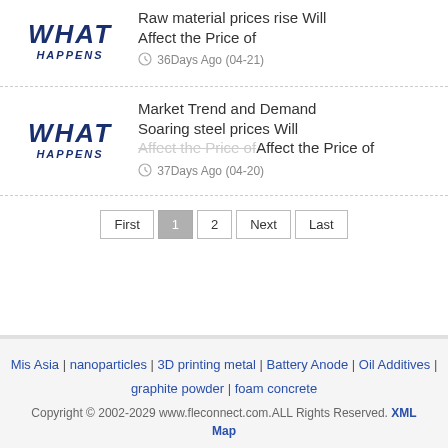[Figure (illustration): WHAT HAPPENS logo thumbnail for article about raw material prices]
Raw material prices rise Will Affect the Price of
36Days Ago (04-21)
[Figure (illustration): WHAT HAPPENS logo thumbnail for article about market trend and soaring steel prices]
Market Trend and Demand Soaring steel prices Will Affect the Price of
37Days Ago (04-20)
First | 1 | 2 | Next | Last
Mis Asia | nanoparticles | 3D printing metal | Battery Anode | Oil Additives | graphite powder | foam concrete
Copyright © 2002-2029 www.fleconnect.com.ALL Rights Reserved. XML Map